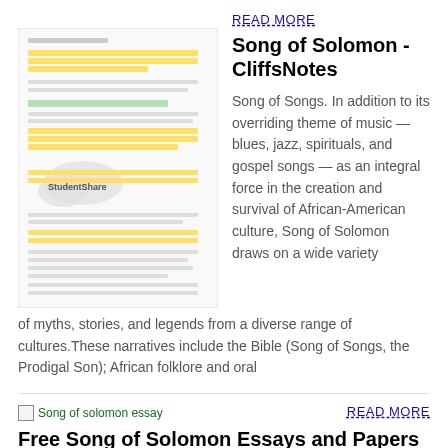[Figure (screenshot): Thumbnail of a student essay document with yellow highlights and StudentShare watermark]
READ MORE
Song of Solomon - CliffsNotes
Song of Songs. In addition to its overriding theme of music — blues, jazz, spirituals, and gospel songs — as an integral force in the creation and survival of African-American culture, Song of Solomon draws on a wide variety of myths, stories, and legends from a diverse range of cultures.These narratives include the Bible (Song of Songs, the Prodigal Son); African folklore and oral
[Figure (screenshot): Broken image icon placeholder for Song of solomon essay]
READ MORE
Free Song of Solomon Essays and Papers | 123 Help Me